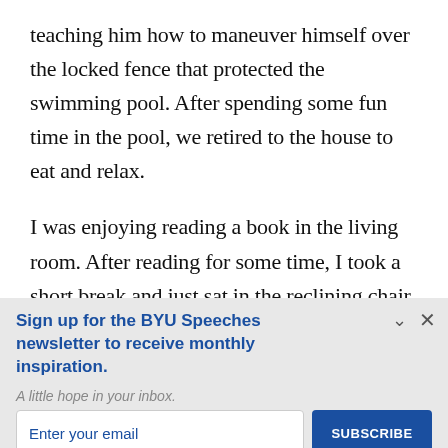teaching him how to maneuver himself over the locked fence that protected the swimming pool. After spending some fun time in the pool, we retired to the house to eat and relax.
I was enjoying reading a book in the living room. After reading for some time, I took a short break and just sat in the reclining chair
Sign up for the BYU Speeches newsletter to receive monthly inspiration.
A little hope in your inbox.
Enter your email
SUBSCRIBE